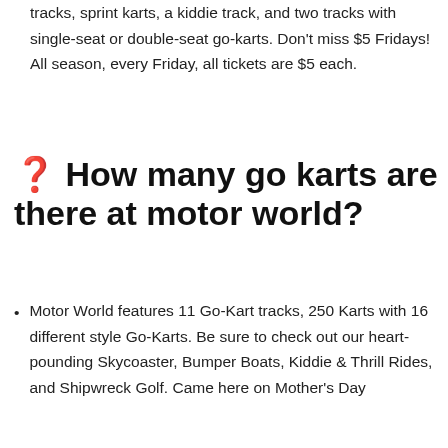tracks, sprint karts, a kiddie track, and two tracks with single-seat or double-seat go-karts. Don't miss $5 Fridays! All season, every Friday, all tickets are $5 each.
❓ How many go karts are there at motor world?
Motor World features 11 Go-Kart tracks, 250 Karts with 16 different style Go-Karts. Be sure to check out our heart-pounding Skycoaster, Bumper Boats, Kiddie & Thrill Rides, and Shipwreck Golf. Came here on Mother's Day